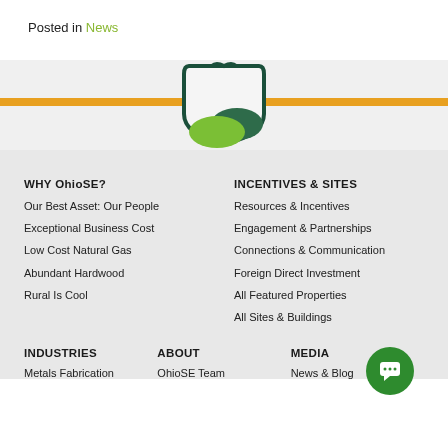Posted in News
[Figure (logo): OhioSE shield logo with green hills and dark green border, centered above an orange horizontal bar on a grey background]
WHY OhioSE?
Our Best Asset: Our People
Exceptional Business Cost
Low Cost Natural Gas
Abundant Hardwood
Rural Is Cool
INCENTIVES & SITES
Resources & Incentives
Engagement & Partnerships
Connections & Communication
Foreign Direct Investment
All Featured Properties
All Sites & Buildings
INDUSTRIES
ABOUT
MEDIA
Metals Fabrication
OhioSE Team
News & Blog